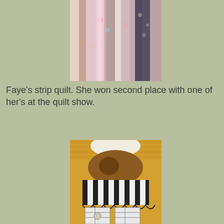[Figure (photo): Close-up photo of colorful fabric strips for a strip quilt, with pink, floral, and patterned fabrics stacked together.]
Faye's strip quilt. She won second place with one of her's at the quilt show.
[Figure (photo): Close-up photo of a detailed quilt featuring a building facade with yellow/orange brick-like patterns, black and white striped awning, and embroidered decorative elements.]